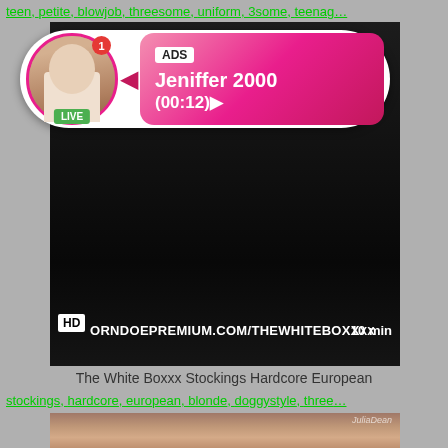teen, petite, blowjob, threesome, uniform, 3some, teenag…
[Figure (screenshot): Video thumbnail with dark background showing adult content website, with overlay ad bubble showing profile avatar with LIVE badge, notification badge, ADS label, name Jeniffer 2000, time (00:12), HD badge, watermark PORNDOEPREMIUM.COM/THEWHITEBOXX, duration 10 min]
The White Boxxx Stockings Hardcore European
stockings, hardcore, european, blonde, doggystyle, three…
[Figure (photo): Close-up photo of young woman's face]